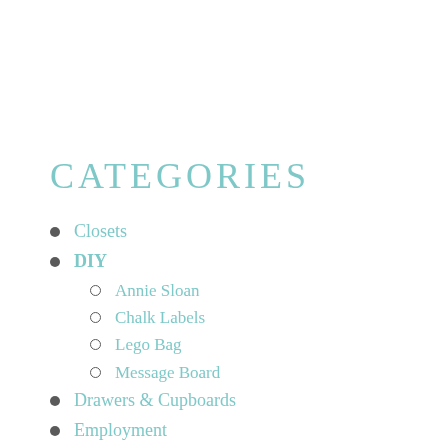Categories
Closets
DIY
Annie Sloan
Chalk Labels
Lego Bag
Message Board
Drawers & Cupboards
Employment
Garage
Introductory
Jewelry
Kitchen & Pantry